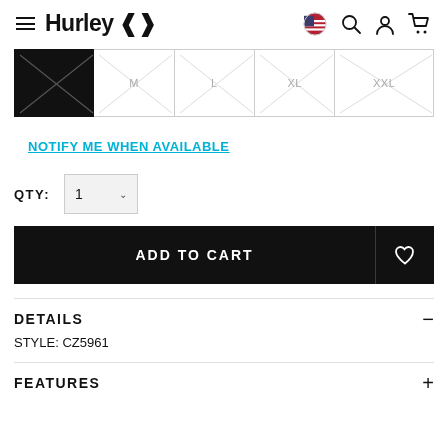Hurley — navigation header with hamburger menu, logo, globe/search/account/cart icons
[Figure (screenshot): Row of 5 size selector boxes: first (S) is selected/filled black with X pattern, remaining (M, L, XL, XXL) are empty outlines with grey X pattern]
NOTIFY ME WHEN AVAILABLE
QTY:  1
ADD TO CART
DETAILS
STYLE: CZ5961
FEATURES